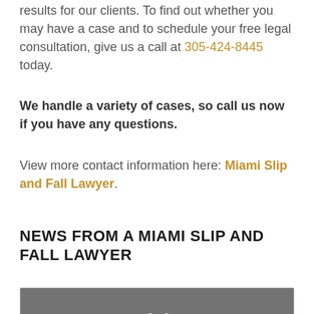results for our clients. To find out whether you may have a case and to schedule your free legal consultation, give us a call at 305-424-8445 today.
We handle a variety of cases, so call us now if you have any questions.
View more contact information here: Miami Slip and Fall Lawyer.
NEWS FROM A MIAMI SLIP AND FALL LAWYER
[Figure (other): Gray calendar-style card showing the date 14 December]